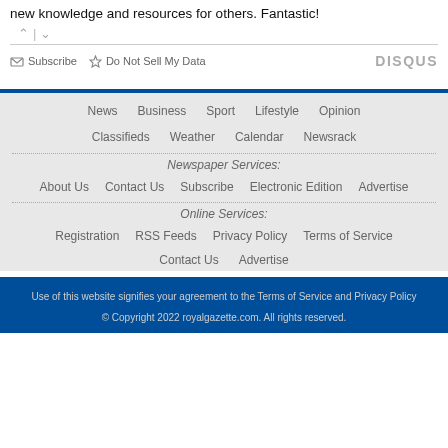new knowledge and resources for others. Fantastic!
^ | v
Subscribe   Do Not Sell My Data   DISQUS
News   Business   Sport   Lifestyle   Opinion
Classifieds   Weather   Calendar   Newsrack
Newspaper Services:
About Us   Contact Us   Subscribe   Electronic Edition   Advertise
Online Services:
Registration   RSS Feeds   Privacy Policy   Terms of Service
Contact Us   Advertise
Use of this website signifies your agreement to the Terms of Service and Privacy Policy
© Copyright 2022 royalgazette.com. All rights reserved.